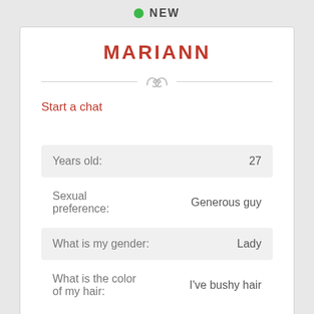NEW
MARIANN
Start a chat
| Label | Value |
| --- | --- |
| Years old: | 27 |
| Sexual preference: | Generous guy |
| What is my gender: | Lady |
| What is the color of my hair: | I've bushy hair |